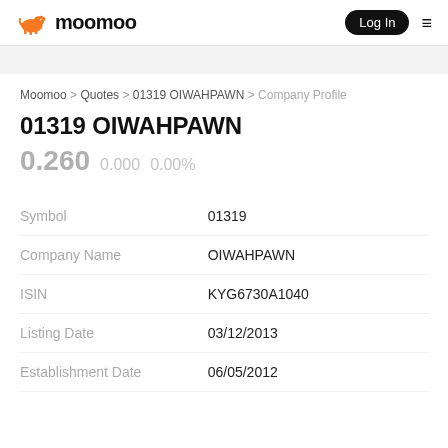moomoo | Log In
Moomoo > Quotes > 01319 OIWAHPAWN > Company Profile
01319 OIWAHPAWN
0.260  0.000  0.00%
| Field | Value |
| --- | --- |
| Symbol | 01319 |
| Company Name | OIWAHPAWN |
| ISIN | KYG6730A1040 |
| Listing Date | 03/12/2013 |
| Establishment Date | 06/05/2012 |